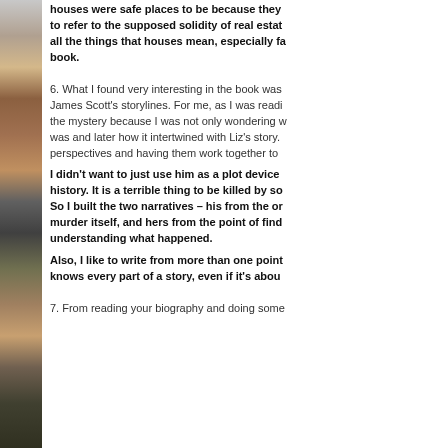[Figure (photo): Partial left-side image strip, appears to be a book cover or decorative image with warm brown and dark tones]
houses were safe places to be because they... to refer to the supposed solidity of real estate... all the things that houses mean, especially fa... book.
6. What I found very interesting in the book was... James Scott's storylines. For me, as I was readi... the mystery because I was not only wondering w... was and later how it intertwined with Liz's story.... perspectives and having them work together to...
I didn't want to just use him as a plot device... history. It is a terrible thing to be killed by so... So I built the two narratives – his from the or... murder itself, and hers from the point of find... understanding what happened.
Also, I like to write from more than one point... knows every part of a story, even if it's abou...
7. From reading your biography and doing some...